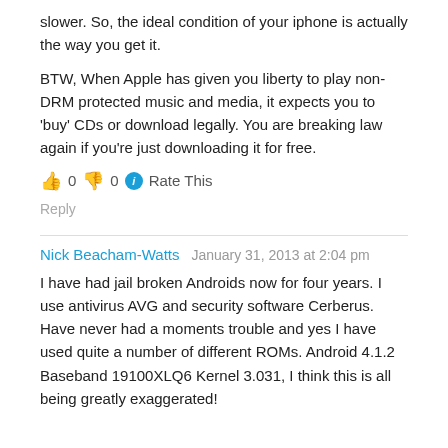slower. So, the ideal condition of your iphone is actually the way you get it.
BTW, When Apple has given you liberty to play non-DRM protected music and media, it expects you to 'buy' CDs or download legally. You are breaking law again if you're just downloading it for free.
👍 0 👎 0 ℹ Rate This
Reply
Nick Beacham-Watts   January 31, 2013 at 2:04 pm
I have had jail broken Androids now for four years. I use antivirus AVG and security software Cerberus. Have never had a moments trouble and yes I have used quite a number of different ROMs. Android 4.1.2 Baseband 19100XLQ6 Kernel 3.031, I think this is all being greatly exaggerated!